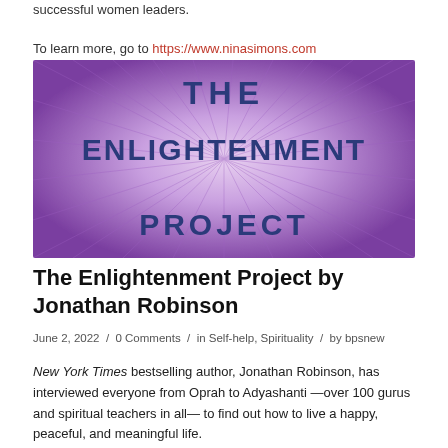successful women leaders.

To learn more, go to https://www.ninasimons.com
[Figure (illustration): Book cover for 'The Enlightenment Project' with bold text on a purple sunburst background]
The Enlightenment Project by Jonathan Robinson
June 2, 2022 / 0 Comments / in Self-help, Spirituality / by bpsnew
New York Times bestselling author, Jonathan Robinson, has interviewed everyone from Oprah to Adyashanti —over 100 gurus and spiritual teachers in all— to find out how to live a happy, peaceful, and meaningful life.